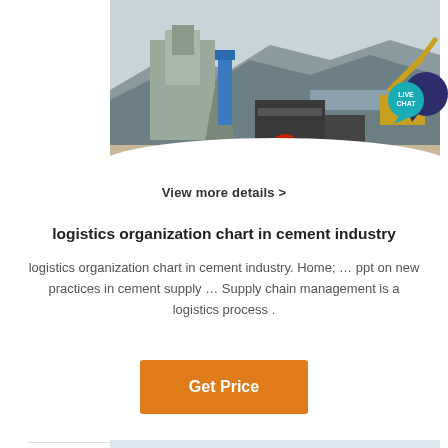[Figure (photo): Mining/quarry industrial site with heavy machinery, crusher equipment, concrete structure, and excavator against a mountain backdrop. A 'LIVE CHAT' speech bubble icon is overlaid in the top-right of the image.]
View more details >
logistics organization chart in cement industry
logistics organization chart in cement industry. Home; … ppt on new practices in cement supply … Supply chain management is a logistics process .
Get Price
[Figure (photo): Partial bottom image strip showing a light blue/gray industrial or quarry scene, partially visible at the bottom of the page.]